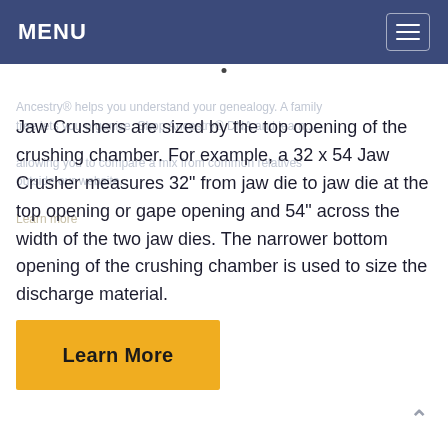MENU
Jaw Crushers are sized by the top opening of the crushing chamber. For example, a 32 x 54 Jaw Crusher measures 32" from jaw die to jaw die at the top opening or gape opening and 54" across the width of the two jaw dies. The narrower bottom opening of the crushing chamber is used to size the discharge material.
Learn More